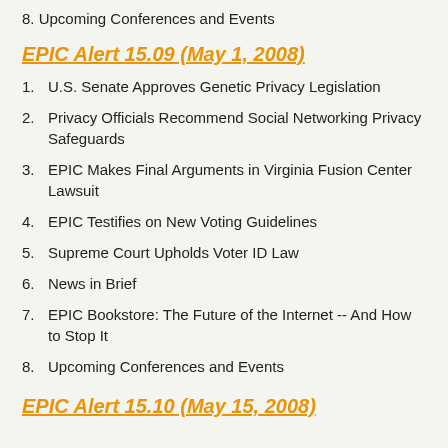8. Upcoming Conferences and Events
EPIC Alert 15.09 (May 1, 2008)
1. U.S. Senate Approves Genetic Privacy Legislation
2. Privacy Officials Recommend Social Networking Privacy Safeguards
3. EPIC Makes Final Arguments in Virginia Fusion Center Lawsuit
4. EPIC Testifies on New Voting Guidelines
5. Supreme Court Upholds Voter ID Law
6. News in Brief
7. EPIC Bookstore: The Future of the Internet -- And How to Stop It
8. Upcoming Conferences and Events
EPIC Alert 15.10 (May 15, 2008)